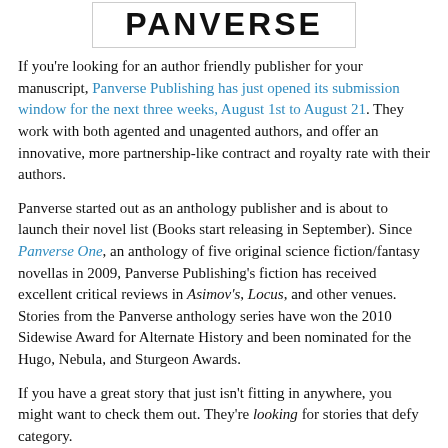[Figure (logo): Panverse logo text inside a rectangular border]
If you're looking for an author friendly publisher for your manuscript, Panverse Publishing has just opened its submission window for the next three weeks, August 1st to August 21. They work with both agented and unagented authors, and offer an innovative, more partnership-like contract and royalty rate with their authors.
Panverse started out as an anthology publisher and is about to launch their novel list (Books start releasing in September). Since Panverse One, an anthology of five original science fiction/fantasy novellas in 2009, Panverse Publishing's fiction has received excellent critical reviews in Asimov's, Locus, and other venues. Stories from the Panverse anthology series have won the 2010 Sidewise Award for Alternate History and been nominated for the Hugo, Nebula, and Sturgeon Awards.
If you have a great story that just isn't fitting in anywhere, you might want to check them out. They're looking for stories that defy category.